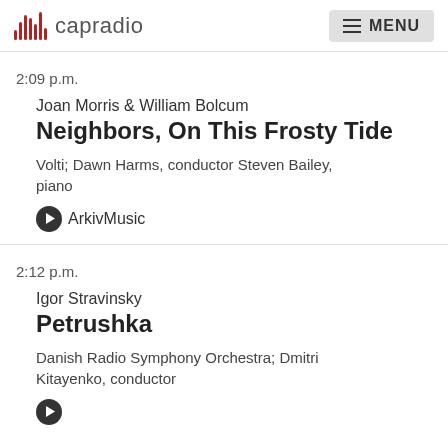capradio  MENU
2:09 p.m.
Joan Morris & William Bolcum
Neighbors, On This Frosty Tide
Volti; Dawn Harms, conductor Steven Bailey, piano
ArkivMusic
2:12 p.m.
Igor Stravinsky
Petrushka
Danish Radio Symphony Orchestra; Dmitri Kitayenko, conductor